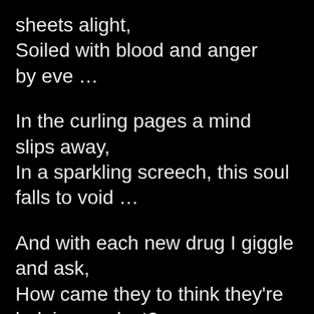sheets alight,
Soiled with blood and anger
by eve …
In the curling pages a mind
slips away,
In a sparkling screech, this soul
falls to void …
And with each new drug I giggle
and ask,
How came they to think they're
helping me last?
First it was Haldol, now Prozac
is king –